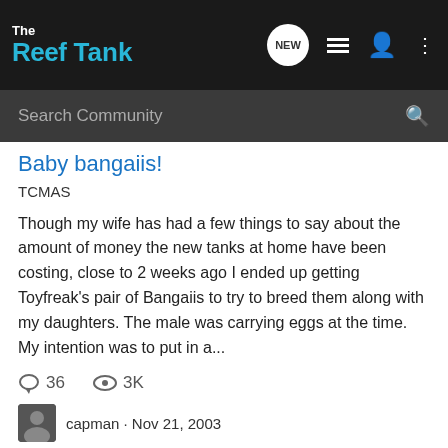The Reef Tank
Baby bangaiis!
TCMAS
Though my wife has had a few things to say about the amount of money the new tanks at home have been costing, close to 2 weeks ago I ended up getting Toyfreak's pair of Bangaiis to try to breed them along with my daughters. The male was carrying eggs at the time. My intention was to put in a...
36 comments, 3K views
capman · Nov 21, 2003
african cichlids
baby brine
baby brine shrimp
bangaii cardinal
cinnamon clown
dorsal fin
frag trade
lined wrasse
mysid shrimp
mysis shrimp
ocellaris clown
ocellaris clowns